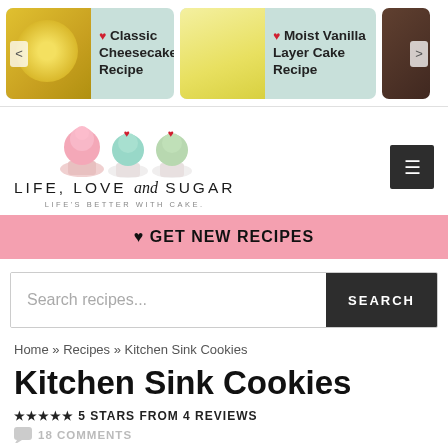[Figure (screenshot): Top carousel showing recipe links: Classic Cheesecake Recipe, Moist Vanilla Layer Cake Recipe, and a partially visible cupcake recipe]
[Figure (logo): Life, Love and Sugar logo with three decorative cupcakes and tagline LIFE'S BETTER WITH CAKE.]
♥ GET NEW RECIPES
Search recipes...
Home » Recipes » Kitchen Sink Cookies
Kitchen Sink Cookies
★★★★★ 5 STARS FROM 4 REVIEWS
18 COMMENTS